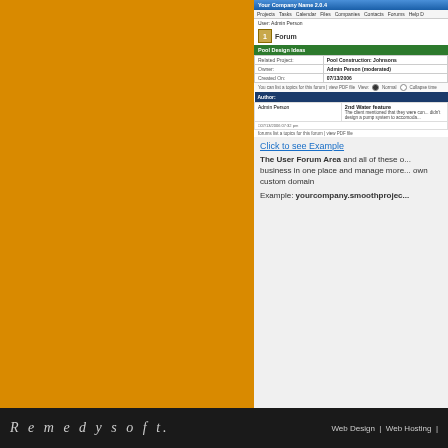[Figure (screenshot): Screenshot of a web project management application showing a Forum page titled 'Pool Design Ideas' with Related Project 'Pool Construction: Johnsons', Owner 'Admin Person (moderated)', Created On '07/13/2006', and a forum topic '2nd Water feature' posted by Admin Person with date 07/13/2006 07:32 pm]
Click to see Example
The User Forum Area and all of these o... business in one place and manage more... own custom domain
Example: yourcompany.smoothproject...
Remedysoft. Web Design | Web Hosting |